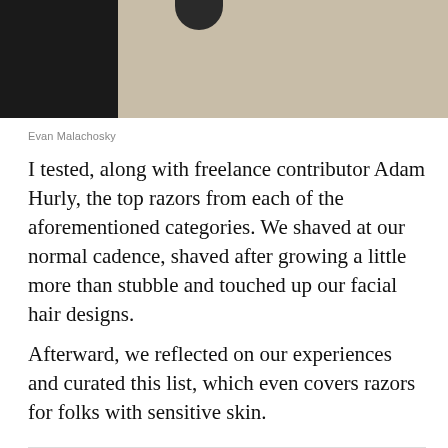[Figure (photo): Partial photo showing a dark object against a beige/tan background, with a dark section on the left side of the image]
Evan Malachosky
I tested, along with freelance contributor Adam Hurly, the top razors from each of the aforementioned categories. We shaved at our normal cadence, shaved after growing a little more than stubble and touched up our facial hair designs.
Afterward, we reflected on our experiences and curated this list, which even covers razors for folks with sensitive skin.